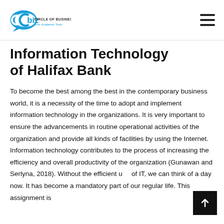Cbiz Circle of Business — Your Academic Tutor
Information Technology of Halifax Bank
To become the best among the best in the contemporary business world, it is a necessity of the time to adopt and implement information technology in the organizations. It is very important to ensure the advancements in routine operational activities of the organization and provide all kinds of facilities by using the Internet. Information technology contributes to the process of increasing the efficiency and overall productivity of the organization (Gunawan and Serlyna, 2018). Without the efficient use of IT, we can think of a day now. It has become a mandatory part of our regular life. This assignment is